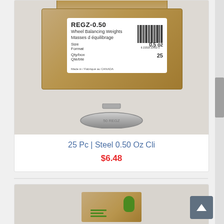[Figure (photo): Product photo showing a cardboard box labeled REGZ-0.50 Wheel Balancing Weights, Masses d équilibrage, Size/Format 0.5 oz, Qty/box 25, Made in Canada, with a barcode. Below the box is a single steel clip-on wheel balancing weight piece.]
25 Pc | Steel 0.50 Oz Cli
$6.48
[Figure (photo): Partial view of a second product cardboard box, top portion only visible, showing green logo marks on the box surface.]